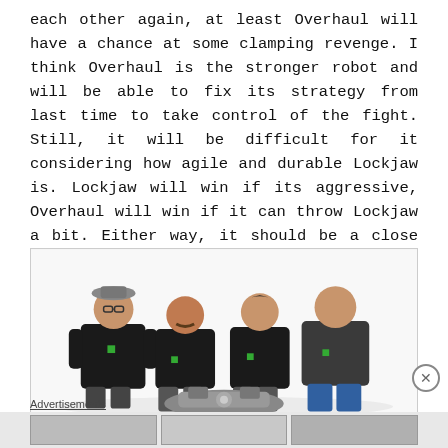each other again, at least Overhaul will have a chance at some clamping revenge. I think Overhaul is the stronger robot and will be able to fix its strategy from last time to take control of the fight. Still, it will be difficult for it considering how agile and durable Lockjaw is. Lockjaw will win if its aggressive, Overhaul will win if it can throw Lockjaw a bit. Either way, it should be a close battle.
[Figure (photo): Four people wearing black t-shirts with a green logo, posing together. Three are crouching/sitting and one is kneeling on the right. There appears to be a robot component in the foreground.]
Advertisements